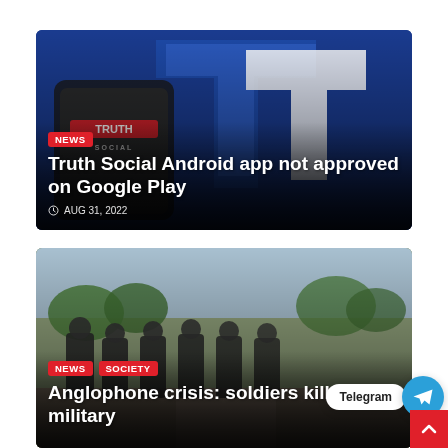[Figure (photo): Truth Social app logo on a smartphone screen against a blue background with a large T shape]
NEWS
Truth Social Android app not approved on Google Play
AUG 31, 2022
[Figure (photo): Military soldiers in tactical gear walking on a road with trees in the background]
NEWS  SOCIETY
Anglophone crisis: soldiers killed after military
Telegram